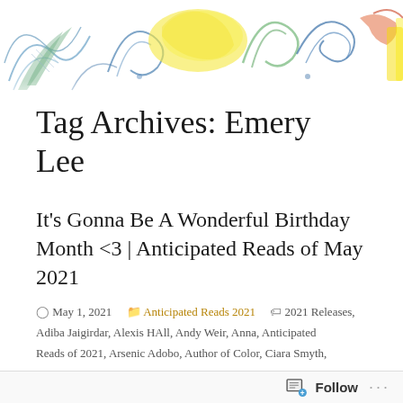[Figure (illustration): Colorful hand-drawn decorative header illustration with flowers, swirls, and abstract patterns in blue, yellow, green, red, and orange on white background]
Tag Archives: Emery Lee
It's Gonna Be A Wonderful Birthday Month <3 | Anticipated Reads of May 2021
May 1, 2021   Anticipated Reads 2021   2021 Releases, Adiba Jaigirdar, Alexis HAll, Andy Weir, Anna, Anticipated Reads of 2021, Arsenic Adobo, Author of Color, Ciara Smyth, Contemporary Fiction, Contemporary Romance, Contemporary YA, Diverse Reads, Dystopian, Emery Lee